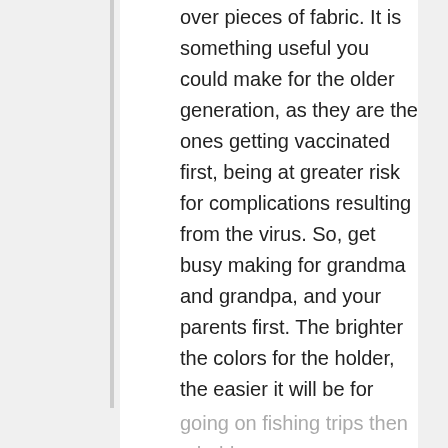over pieces of fabric. It is something useful you could make for the older generation, as they are the ones getting vaccinated first, being at greater risk for complications resulting from the virus. So, get busy making for grandma and grandpa, and your parents first. The brighter the colors for the holder, the easier it will be for them to locate their cards. Personalize them as far as possible. Let's says your dad loves going on fishing trips then a holder